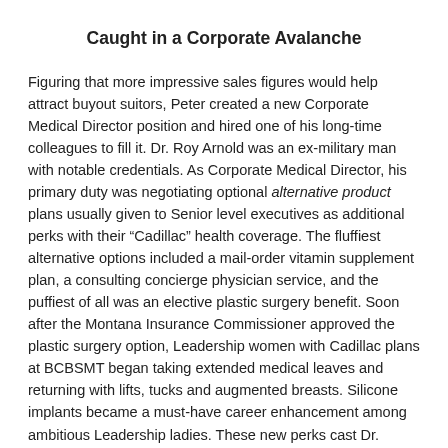Caught in a Corporate Avalanche
Figuring that more impressive sales figures would help attract buyout suitors, Peter created a new Corporate Medical Director position and hired one of his long-time colleagues to fill it. Dr. Roy Arnold was an ex-military man with notable credentials. As Corporate Medical Director, his primary duty was negotiating optional alternative product plans usually given to Senior level executives as additional perks with their “Cadillac” health coverage. The fluffiest alternative options included a mail-order vitamin supplement plan, a consulting concierge physician service, and the puffiest of all was an elective plastic surgery benefit. Soon after the Montana Insurance Commissioner approved the plastic surgery option, Leadership women with Cadillac plans at BCBSMT began taking extended medical leaves and returning with lifts, tucks and augmented breasts. Silicone implants became a must-have career enhancement among ambitious Leadership ladies. These new perks cast Dr. Arnold in a bright corporate limelight, enough to blind his peers to some of his obvious addiction issues. Alcohol